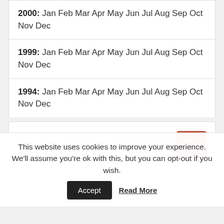2000: Jan Feb Mar Apr May Jun Jul Aug Sep Oct Nov Dec
1999: Jan Feb Mar Apr May Jun Jul Aug Sep Oct Nov Dec
1994: Jan Feb Mar Apr May Jun Jul Aug Sep Oct Nov Dec
Meet the Author
This website uses cookies to improve your experience. We'll assume you're ok with this, but you can opt-out if you wish.
Accept  Read More